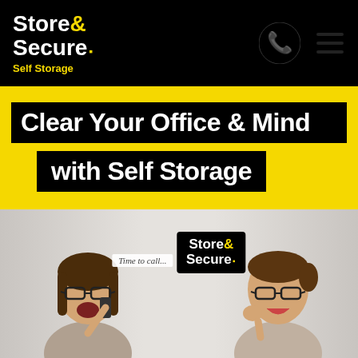[Figure (logo): Store & Secure Self Storage logo — white text on black background with yellow ampersand and yellow 'Self Storage' tagline]
Clear Your Office & Mind with Self Storage
[Figure (photo): Two images of the same woman: on the left, she looks stressed/frustrated holding a phone; on the right, she looks happy and relieved. A 'Time to call... Store & Secure' badge overlaid in the center.]